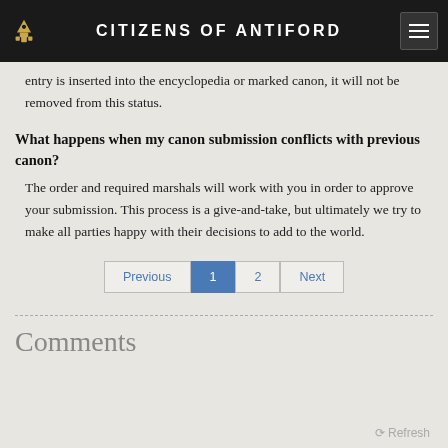CITIZENS OF ANTIFORD
entry is inserted into the encyclopedia or marked canon, it will not be removed from this status.
What happens when my canon submission conflicts with previous canon?
The order and required marshals will work with you in order to approve your submission. This process is a give-and-take, but ultimately we try to make all parties happy with their decisions to add to the world.
Previous 1 2 Next
Comments
Refresh